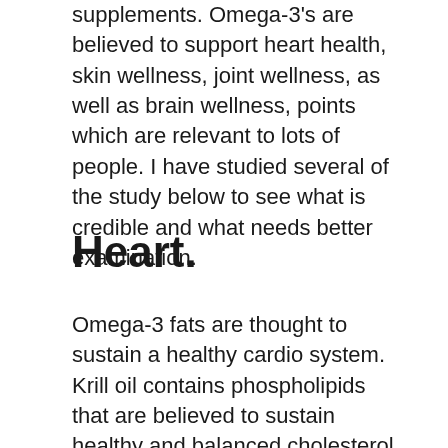supplements. Omega-3's are believed to support heart health, skin wellness, joint wellness, as well as brain wellness, points which are relevant to lots of people. I have studied several of the study below to see what is credible and what needs better examination.
Heart.
Omega-3 fats are thought to sustain a healthy cardio system. Krill oil contains phospholipids that are believed to sustain healthy and balanced cholesterol degrees within the regular range. Phospholipids are an unique type of lipid (fat) that develops a part of every cell membrane and also aids to